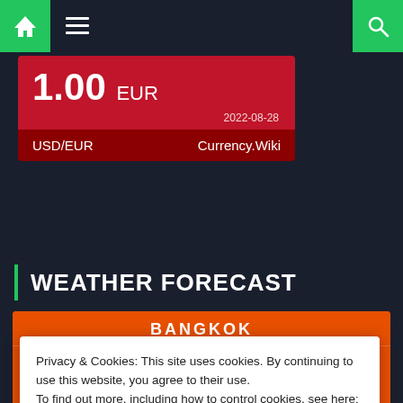Navigation bar with home, hamburger menu, and search icons
[Figure (screenshot): Currency widget showing 1.00 EUR, date 2022-08-28, USD/EUR from Currency.Wiki]
WEATHER FORECAST
[Figure (infographic): Bangkok weather card showing 31 degrees with cloud icon on orange background]
Privacy & Cookies: This site uses cookies. By continuing to use this website, you agree to their use.
To find out more, including how to control cookies, see here:
Cookie Policy
Close and accept